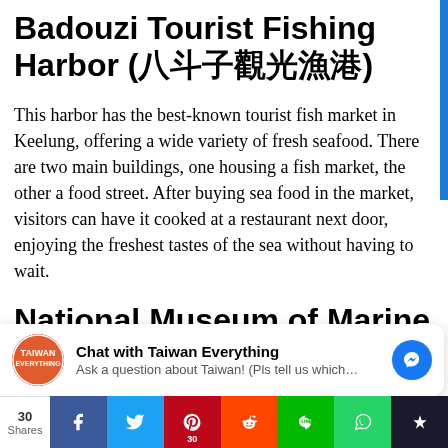Badouzi Tourist Fishing Harbor (八斗子觀光漁港)
This harbor has the best-known tourist fish market in Keelung, offering a wide variety of fresh seafood. There are two main buildings, one housing a fish market, the other a food street. After buying sea food in the market, visitors can have it cooked at a restaurant next door, enjoying the freshest tastes of the sea without having to wait.
National Museum of Marine Science & Technology (NMMST)
[Figure (other): Chat widget for Taiwan Everything with messenger icon, and social media share bar at bottom with Facebook, Twitter, Pinterest (30), Reddit, Line, WhatsApp, and bookmark buttons]